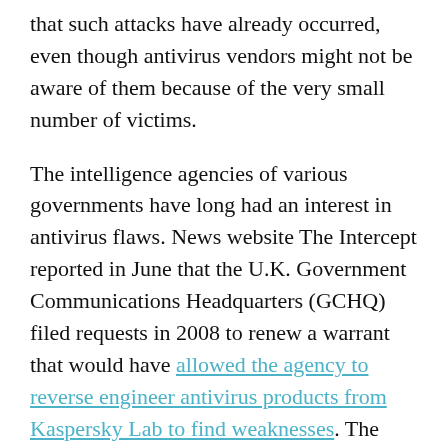that such attacks have already occurred, even though antivirus vendors might not be aware of them because of the very small number of victims.
The intelligence agencies of various governments have long had an interest in antivirus flaws. News website The Intercept reported in June that the U.K. Government Communications Headquarters (GCHQ) filed requests in 2008 to renew a warrant that would have allowed the agency to reverse engineer antivirus products from Kaspersky Lab to find weaknesses. The U.S. National Security Agency also studied antivirus products to bypass their detection, according to secret files leaked by former NSA contractor Edward Snowden, the website said.
ADVERTISEMENT